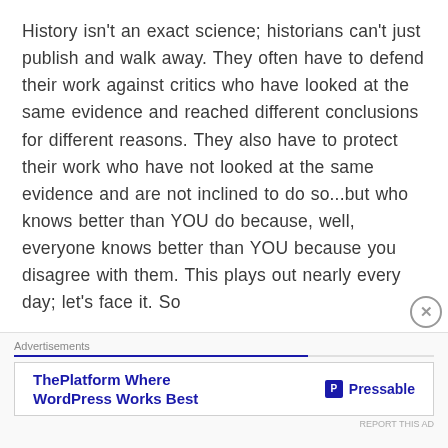History isn't an exact science; historians can't just publish and walk away. They often have to defend their work against critics who have looked at the same evidence and reached different conclusions for different reasons. They also have to protect their work who have not looked at the same evidence and are not inclined to do so...but who knows better than YOU do because, well, everyone knows better than YOU because you disagree with them. This plays out nearly every day; let's face it. So
[Figure (other): Advertisement banner: 'ThePlatform Where WordPress Works Best' by Pressable]